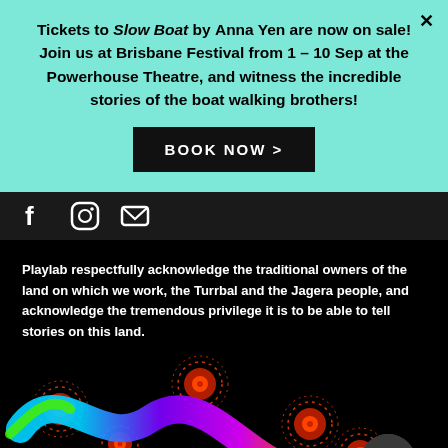Tickets to Slow Boat by Anna Yen are now on sale! Join us at Brisbane Festival from 1 – 10 Sep at the Powerhouse Theatre, and witness the incredible stories of the boat walking brothers!
BOOK NOW >
[Figure (illustration): Social media icons: Facebook, Instagram, Email on dark bar]
Playlab respectfully acknowledge the traditional owners of the land on which we work, the Turrbal and the Jagera people, and acknowledge the tremendous privilege it is to be able to tell stories on this land.
[Figure (illustration): Colourful wavy snake/river illustration with Aboriginal dot-art circle motifs in red/orange on a black background, plus a Messenger chat bubble icon at bottom right.]